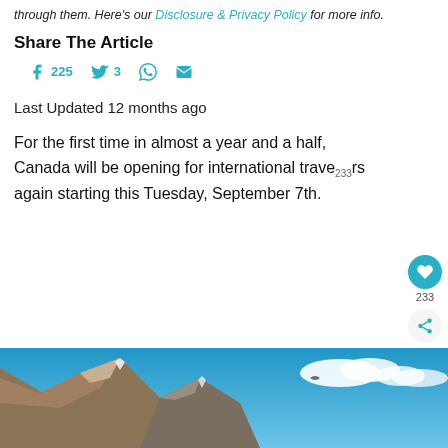through them. Here's our Disclosure & Privacy Policy for more info.
Share The Article
f 225   225   3   (WhatsApp icon)   (email icon)
Last Updated 12 months ago
For the first time in almost a year and a half, Canada will be opening for international travelers again starting this Tuesday, September 7th.
[Figure (photo): Mountain landscape with rocky peaks and blue sky with clouds]